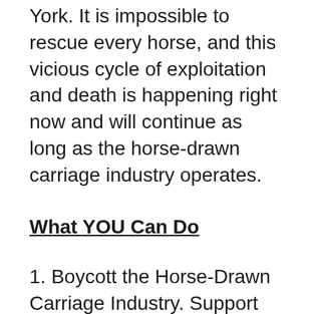York. It is impossible to rescue every horse, and this vicious cycle of exploitation and death is happening right now and will continue as long as the horse-drawn carriage industry operates.
What YOU Can Do
1. Boycott the Horse-Drawn Carriage Industry. Support ethical entertainment